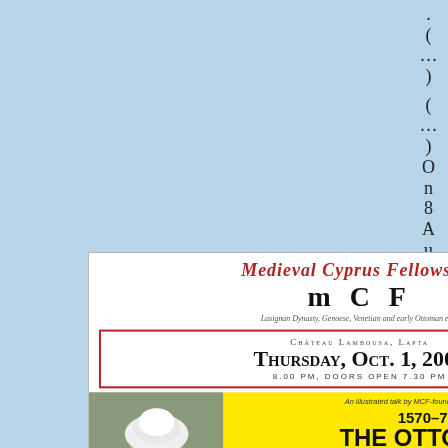.
(
...
)

(
...
)
O
n
8
A
u
g
u
s
t
,
L
a
l
a
M
[Figure (illustration): Medieval Cyprus Fellowship (MCF) event flyer. Arc title 'Medieval Cyprus Fellowship' in red italic. MCF in large black letters. Subtitle 'Lusignan Dynasty, Genoese, Venetian and early Ottoman eras'. Venue: Chateau Lambousa, Lapta. Date: Thursday, Oct. 1, 2009, 8.00 PM, Doors open 7.30 PM. Portrait of Lala Mustafa Pasha. Yellow section: 1570-71 THE OTTOMAN CONQUEST OF CYPRUS (2), Invasion, Nicosia, Siege and Fall of Famagusta. Email: mcf.trnc@gmail.com. Phone: 0533 841 5410. Website: www.cyprusdownload.nl]